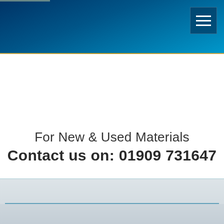[Figure (screenshot): Dark blue gradient navigation header bar with a hamburger menu button in the top right corner and a short horizontal line in the top left.]
For New & Used Materials
Contact us on: 01909 731647
[Figure (other): Light grey footer section with a teal horizontal divider line.]